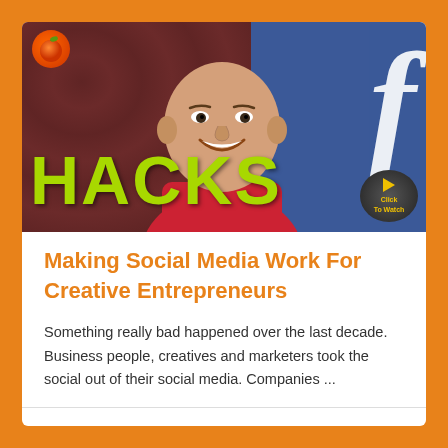[Figure (photo): Thumbnail image of a bald smiling man in a red shirt against a dark reddish-brown floral background on the left and a blue Facebook background with the 'f' logo on the right. The word 'HACKS' is displayed in large yellow-green text at the bottom left. A small fruit logo icon is in the top left corner and a 'Click To Watch' badge is in the bottom right corner.]
Making Social Media Work For Creative Entrepreneurs
Something really bad happened over the last decade. Business people, creatives and marketers took the social out of their social media. Companies ...